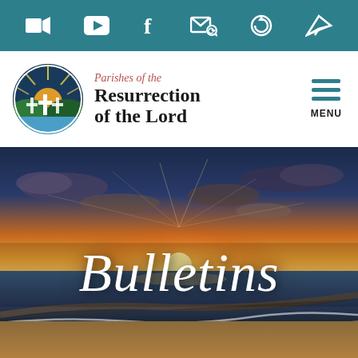Navigation bar with social/media icons
[Figure (logo): Parishes of the Resurrection of the Lord circular logo with crosses and sunrise over water]
Parishes of the Resurrection of the Lord
[Figure (screenshot): Hamburger menu icon with MENU label]
[Figure (photo): Sunset over beach with ocean waves and dramatic sky]
Bulletins